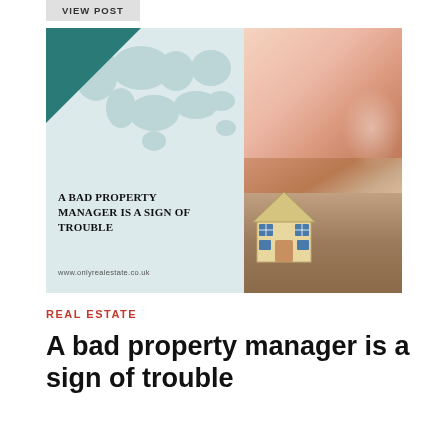VIEW POST
[Figure (infographic): Composite image with left half showing a white/light-blue background with teal triangle in top-left corner, world map outline, bold title text 'A BAD PROPERTY MANAGER IS A SIGN OF TROUBLE', website URL 'www.onlyrealestate.co.uk', and right half showing a photo of hands typing on a keyboard with a small house model in foreground]
REAL ESTATE
A bad property manager is a sign of trouble